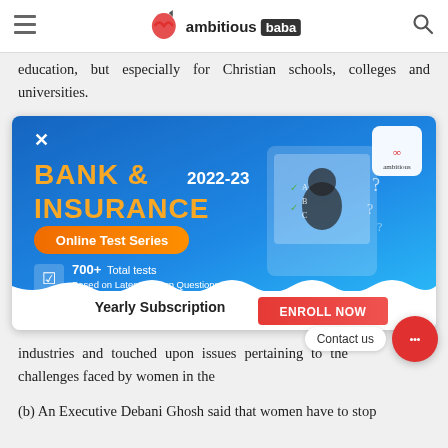ambitious baba
education, but especially for Christian schools, colleges and universities.
[Figure (infographic): Advertisement banner for 'BANK & INSURANCE 2022-23 Online Test Series' by AmbitiousBaba. Features text: BANK & 2022-23 INSURANCE, Online Test Series, 700+ Total tests, Based on Latest Pattern Questions, Prepared by Best Content Experts. Bottom section: Yearly Subscription | ENROLL NOW button. Blue gradient background with illustration of a student at a screen.]
industries and touched upon issues pertaining to the challenges faced by women in the
(b) An Executive Debani Ghosh said that women have to stop